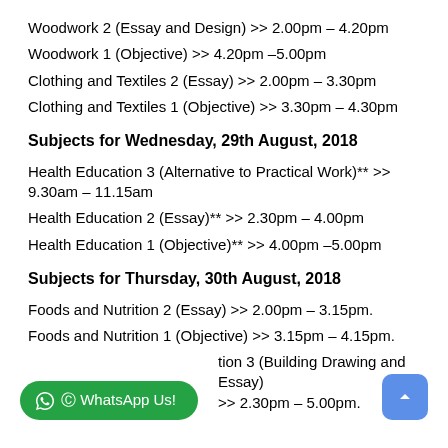Woodwork 2 (Essay and Design) >> 2.00pm – 4.20pm
Woodwork 1 (Objective) >> 4.20pm –5.00pm
Clothing and Textiles 2 (Essay) >> 2.00pm – 3.30pm
Clothing and Textiles 1 (Objective) >> 3.30pm – 4.30pm
Subjects for Wednesday, 29th August, 2018
Health Education 3 (Alternative to Practical Work)** >> 9.30am – 11.15am
Health Education 2 (Essay)** >> 2.30pm – 4.00pm
Health Education 1 (Objective)** >> 4.00pm –5.00pm
Subjects for Thursday, 30th August, 2018
Foods and Nutrition 2 (Essay) >> 2.00pm – 3.15pm.
Foods and Nutrition 1 (Objective) >> 3.15pm – 4.15pm.
tion 3 (Building Drawing and Essay) >> 2.30pm – 5.00pm.